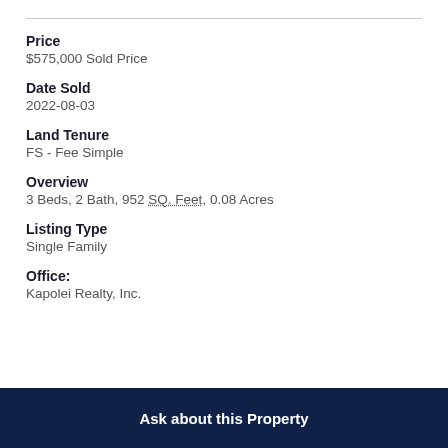Price
$575,000 Sold Price
Date Sold
2022-08-03
Land Tenure
FS - Fee Simple
Overview
3 Beds, 2 Bath, 952 SQ. Feet, 0.08 Acres
Listing Type
Single Family
Office:
Kapolei Realty, Inc.
Ask about this Property